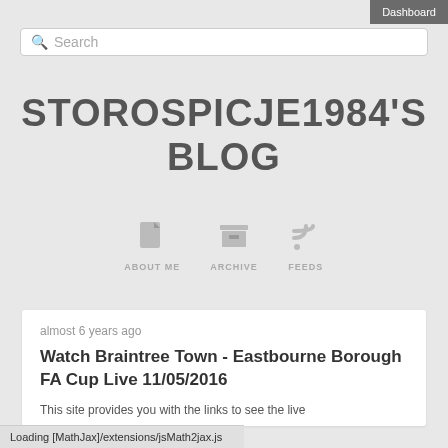Dashboard
Search
STOROSPICJE1984'S BLOG
[Figure (illustration): Three navigation icons: document icon labeled ABOUT ME, archive/box icon labeled ARCHIVE, RSS feed icon labeled FEEDS]
almost 6 years ago
Watch Braintree Town - Eastbourne Borough FA Cup Live 11/05/2016
This site provides you with the links to see the live
Loading [MathJax]/extensions/jsMath2jax.js